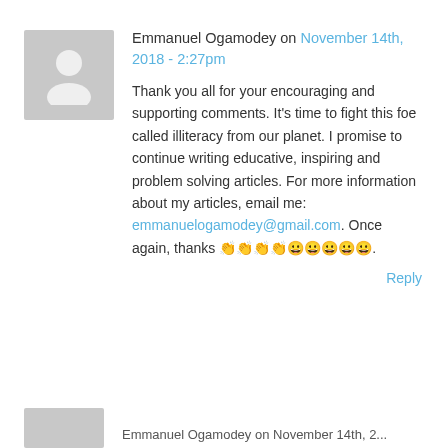[Figure (illustration): Gray placeholder avatar icon showing silhouette of a person]
Emmanuel Ogamodey on November 14th, 2018 - 2:27pm
Thank you all for your encouraging and supporting comments. It's time to fight this foe called illiteracy from our planet. I promise to continue writing educative, inspiring and problem solving articles. For more information about my articles, email me: emmanuelogamodey@gmail.com. Once again, thanks 👏👏👏👏😀😀😀😀😀.
Reply